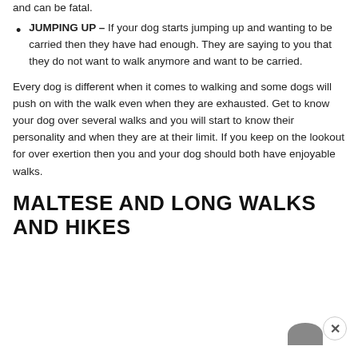and can be fatal.
JUMPING UP – If your dog starts jumping up and wanting to be carried then they have had enough. They are saying to you that they do not want to walk anymore and want to be carried.
Every dog is different when it comes to walking and some dogs will push on with the walk even when they are exhausted. Get to know your dog over several walks and you will start to know their personality and when they are at their limit. If you keep on the lookout for over exertion then you and your dog should both have enjoyable walks.
MALTESE AND LONG WALKS AND HIKES